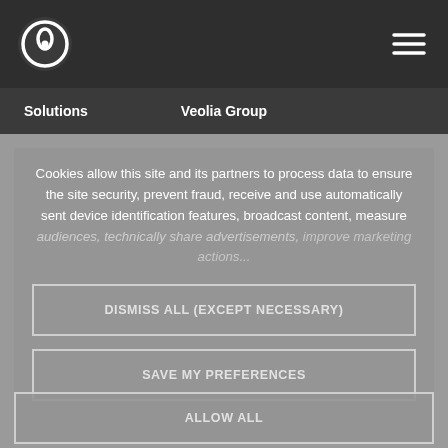[Figure (logo): Veolia logo - circular icon with leaf/drop shape in white on dark background]
[Figure (other): Hamburger menu icon (three horizontal lines) in white]
Solutions    Veolia Group
Cookies allow this site and its partners to process data to ensure the site security, prevent fraud, receive and use automatically sent device identification features, broadcast content, measure audiences, technically share advertisements, improve marketing actions...
DISMISS ALL (EXCEPT NECESSARY)
SAVE MY PREFERENCES
ALLOW ALL